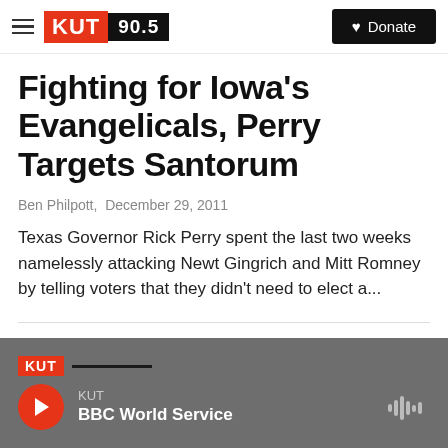KUT 90.5 | Donate
Fighting for Iowa's Evangelicals, Perry Targets Santorum
Ben Philpott,  December 29, 2011
Texas Governor Rick Perry spent the last two weeks namelessly attacking Newt Gingrich and Mitt Romney by telling voters that they didn't need to elect a...
KUT BBC World Service